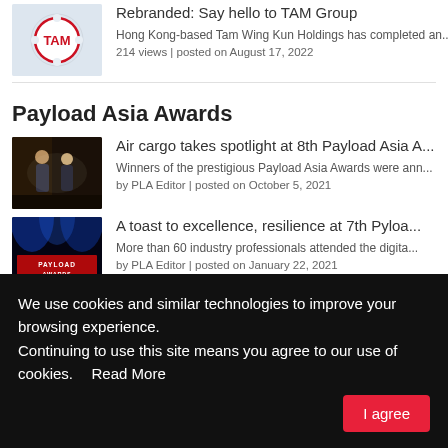[Figure (logo): TAM Group logo – red TAM text inside red circle on light blue/grey background]
Rebranded: Say hello to TAM Group
Hong Kong-based Tam Wing Kun Holdings has completed an...
214 views | posted on August 17, 2022
Payload Asia Awards
[Figure (photo): Award ceremony photo – people in masks on dark stage]
Air cargo takes spotlight at 8th Payload Asia A...
Winners of the prestigious Payload Asia Awards were ann...
by PLA Editor | posted on October 5, 2021
[Figure (photo): Payload Awards event photo – blue lighting with PAYLOAD AWARDS text]
A toast to excellence, resilience at 7th Pyloa...
More than 60 industry professionals attended the digita...
by PLA Editor | posted on January 22, 2021
We use cookies and similar technologies to improve your browsing experience.
Continuing to use this site means you agree to our use of cookies.   Read More